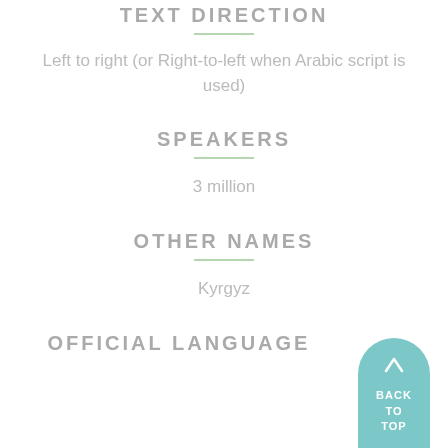TEXT DIRECTION
Left to right (or Right-to-left when Arabic script is used)
SPEAKERS
3 million
OTHER NAMES
Kyrgyz
OFFICIAL LANGUAGE